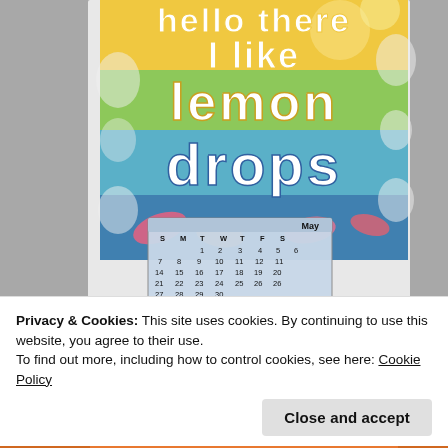[Figure (photo): Craft/scrapbooking card with colorful text reading 'hello there I like lemon drops' in large white bubble letters on a rainbow gradient background, with a small May calendar at the bottom of the card. Card is mounted on white embossed paper against a grey textured wall.]
Privacy & Cookies: This site uses cookies. By continuing to use this website, you agree to their use.
To find out more, including how to control cookies, see here: Cookie Policy
Close and accept